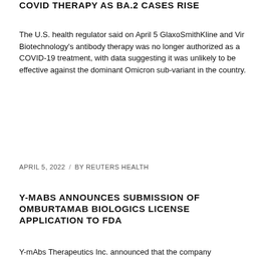COVID THERAPY AS BA.2 CASES RISE
The U.S. health regulator said on April 5 GlaxoSmithKline and Vir Biotechnology's antibody therapy was no longer authorized as a COVID-19 treatment, with data suggesting it was unlikely to be effective against the dominant Omicron sub-variant in the country.
Read more ›
APRIL 5, 2022  /  BY REUTERS HEALTH
Y-MABS ANNOUNCES SUBMISSION OF OMBURTAMAB BIOLOGICS LICENSE APPLICATION TO FDA
Y-mAbs Therapeutics Inc. announced that the company